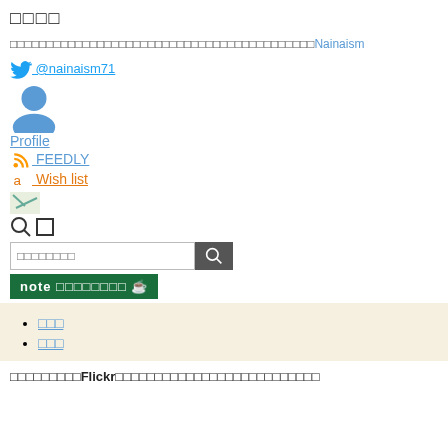□□□□
□□□□□□□□□□□□□□□□□□□□□□□□□□□□□□□□□□□□□□□□□□Nainaism
@nainaism71
Profile
FEEDLY
Wish list
□ □
□□□□□□□□
note □□□□□□□□ ☕
□□□
□□□
□□□□□□□□□Flickr□□□□□□□□□□□□□□□□□□□□□□□□□□